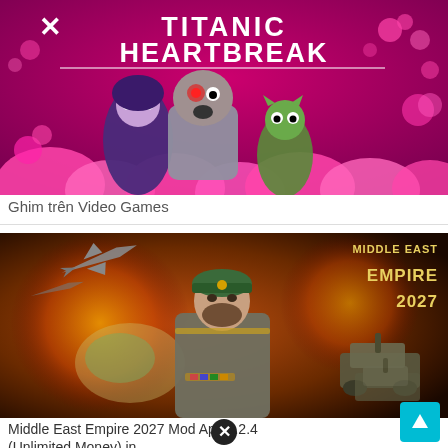[Figure (screenshot): Titanic Heartbreak animated cartoon thumbnail with Teen Titans characters on a pink/magenta background with hearts and clouds]
Ghim trên Video Games
[Figure (screenshot): Middle East Empire 2027 game promotional image featuring a military figure in uniform with fighter jets and tanks against an explosion background]
Middle East Empire 2027 Mod Apk 3.2.4 (Unlimited Money) in